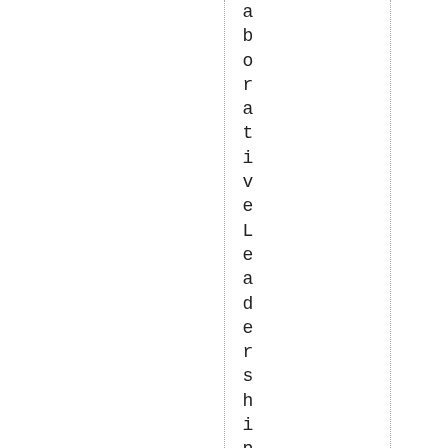aborativeLeadership, part of the fa